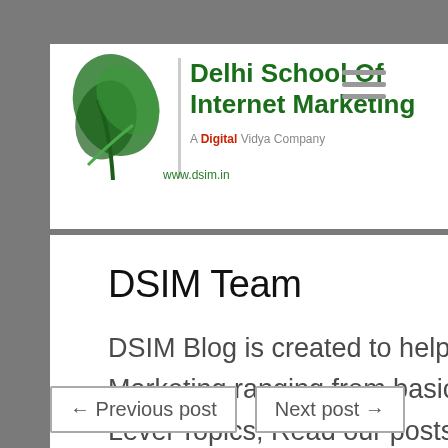[Figure (logo): Delhi School of Internet Marketing logo with green leaf/plant icon and green bold text, tagline 'A Digital Vidya Company', URL www.dsim.in]
DSIM Team
DSIM Blog is created to help you to know all aspects of Digital Marketing ranging from basics of Digital Marketing to Advance Level Topics, Read our posts and feel free to reach our team for any queries.
← Previous post    Next post →